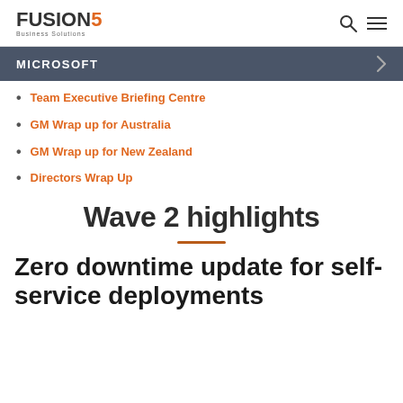FUSION5 Business Solutions
MICROSOFT
Team Executive Briefing Centre
GM Wrap up for Australia
GM Wrap up for New Zealand
Directors Wrap Up
Wave 2 highlights
Zero downtime update for self-service deployments